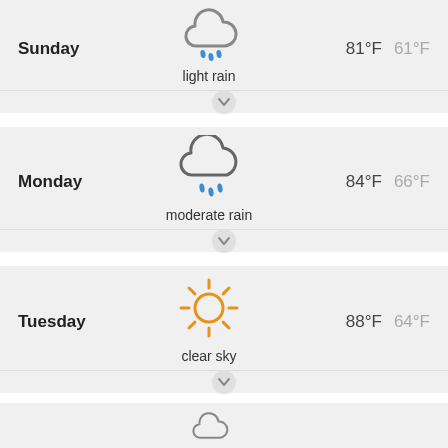Sunday — light rain — 81°F 61°F
[Figure (illustration): Light rain weather icon: cloud with rain drops]
Monday — moderate rain — 84°F 66°F
[Figure (illustration): Moderate rain weather icon: cloud with rain drops]
Tuesday — clear sky — 88°F 64°F
[Figure (illustration): Clear sky weather icon: sun with rays]